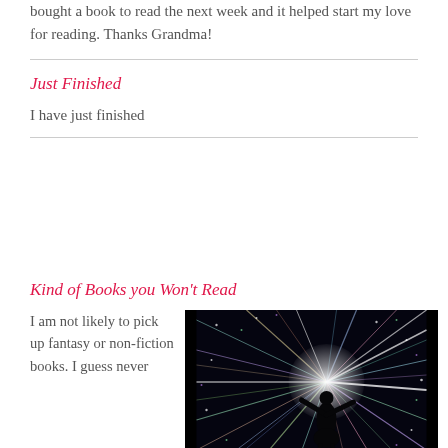bought a book to read the next week and it helped start my love for reading. Thanks Grandma!
Just Finished
I have just finished
Kind of Books you Won't Read
I am not likely to pick up fantasy or non-fiction books. I guess never
[Figure (photo): Silhouette of a person standing with arms outstretched against a dark background with colourful light rays radiating outward]